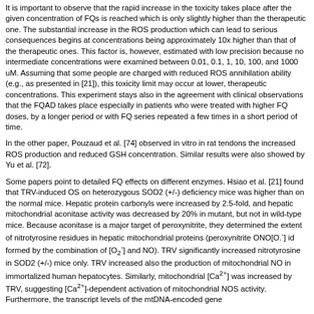It is important to observe that the rapid increase in the toxicity takes place after the given concentration of FQs is reached which is only slightly higher than the therapeutic one. The substantial increase in the ROS production which can lead to serious consequences begins at concentrations being approximately 10x higher than that of the therapeutic ones. This factor is, however, estimated with low precision because no intermediate concentrations were examined between 0.01, 0.1, 1, 10, 100, and 1000 uM. Assuming that some people are charged with reduced ROS annihilation ability (e.g., as presented in [21]), this toxicity limit may occur at lower, therapeutic concentrations. This experiment stays also in the agreement with clinical observations that the FQAD takes place especially in patients who were treated with higher FQ doses, by a longer period or with FQ series repeated a few times in a short period of time.
In the other paper, Pouzaud et al. [74] observed in vitro in rat tendons the increased ROS production and reduced GSH concentration. Similar results were also showed by Yu et al. [72].
Some papers point to detailed FQ effects on different enzymes. Hsiao et al. [21] found that TRV-induced OS on heterozygous SOD2 (+/-) deficiency mice was higher than on the normal mice. Hepatic protein carbonyls were increased by 2.5-fold, and hepatic mitochondrial aconitase activity was decreased by 20% in mutant, but not in wild-type mice. Because aconitase is a major target of peroxynitrite, they determined the extent of nitrotyrosine residues in hepatic mitochondrial proteins (peroxynitrite ONO[O.sup.-] id formed by the combination of [O.sub.2.sup.-] and NO). TRV significantly increased nitrotyrosine in SOD2 (+/-) mice only. TRV increased also the production of mitochondrial NO in immortalized human hepatocytes. Similarly, mitochondrial [Ca.sup.2+] was increased by TRV, suggesting [Ca.sup.2+]-dependent activation of mitochondrial NOS activity. Furthermore, the transcript levels of the mtDNA-encoded gene